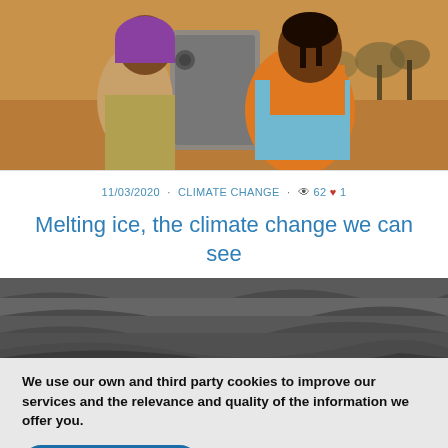[Figure (photo): Two girls at a water pump in an arid landscape. One wears a purple headscarf, the other an orange shirt and light blue top.]
11/03/2020 · CLIMATE CHANGE · 62 ♥ 1
Melting ice, the climate change we can see
[Figure (photo): Black and white close-up of undulating ice or glacial surface texture.]
We use our own and third party cookies to improve our services and the relevance and quality of the information we offer you.
I accept cookie policy
More information